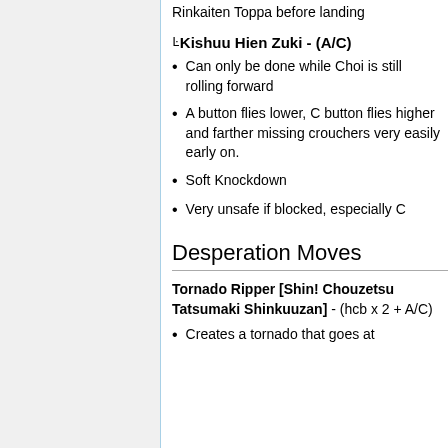Rinkaiten Toppa before landing
ᴸKishuu Hien Zuki - (A/C)
Can only be done while Choi is still rolling forward
A button flies lower, C button flies higher and farther missing crouchers very easily early on.
Soft Knockdown
Very unsafe if blocked, especially C
Desperation Moves
Tornado Ripper [Shin! Chouzetsu Tatsumaki Shinkuuzan] - (hcb x 2 + A/C)
Creates a tornado that goes at